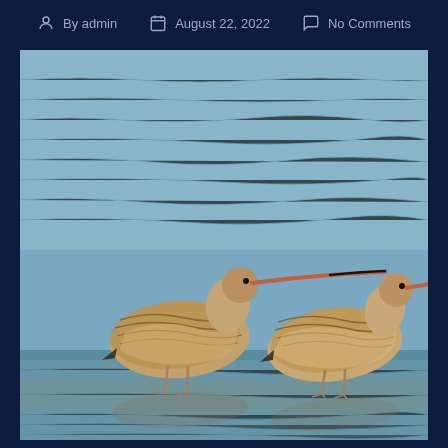By admin   August 22, 2022   No Comments
[Figure (photo): Two marbled godwit shorebirds wading in shallow water, each with long pink-and-black bills, mottled brown-and-buff plumage, standing in calm blue-grey water with reflections visible below them.]